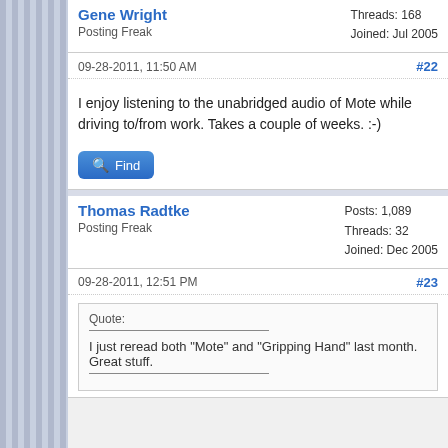Gene Wright
Posting Freak
Threads: 168
Joined: Jul 2005
09-28-2011, 11:50 AM #22
I enjoy listening to the unabridged audio of Mote while driving to/from work. Takes a couple of weeks. :-)
Thomas Radtke
Posting Freak
Posts: 1,089
Threads: 32
Joined: Dec 2005
09-28-2011, 12:51 PM #23
Quote:
I just reread both "Mote" and "Gripping Hand" last month. Great stuff.